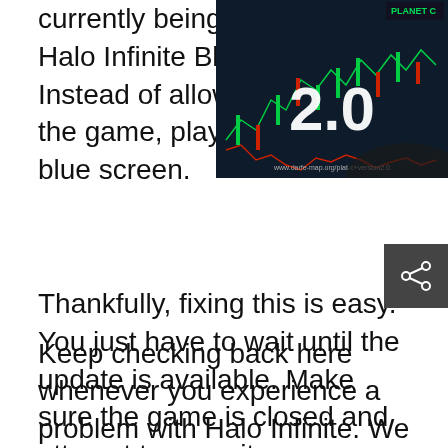currently being plagued by Halo Infinite Blue Screen is Instead of allowing you to play the game, players are met with a blue screen.
[Figure (screenshot): Screenshot of a trading chart on a monitor showing stock/crypto candlestick chart with '2.0' overlaid in large white text and a Planet C logo in top right corner.]
Thankfully, fixing this is easy. You just have to wait until the update is available. Make sure the game is closed and attempt to open it every now and again. When the update has rolled out to your area, the update will download upon opening.
[Figure (other): Share button icon - dark grey square with share/network icon]
Keep checking back here whenever you experience a problem with Halo Infinite. We